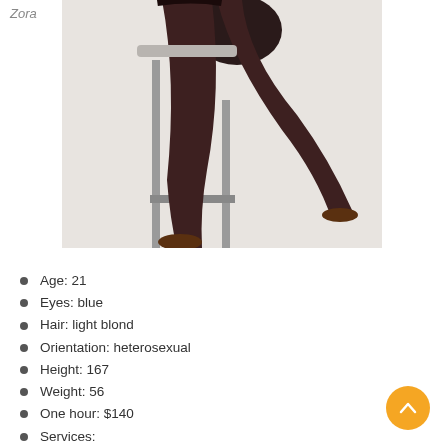Zora
[Figure (photo): Photo of a person's legs in black stockings seated on a metal stool against a light background]
Age: 21
Eyes: blue
Hair: light blond
Orientation: heterosexual
Height: 167
Weight: 56
One hour: $140
Services: